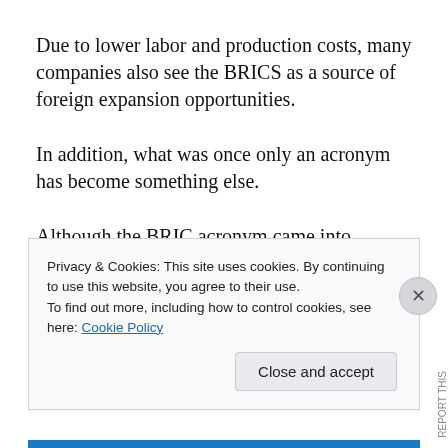Due to lower labor and production costs, many companies also see the BRICS as a source of foreign expansion opportunities.
In addition, what was once only an acronym has become something else.
Although the BRIC acronym came into existence in 2001 when there was no real political organization among the four original countries, on June 16, 2009, due to the 2008 global financial crises, the leaders of the four BRIC
Privacy & Cookies: This site uses cookies. By continuing to use this website, you agree to their use.
To find out more, including how to control cookies, see here: Cookie Policy
Close and accept